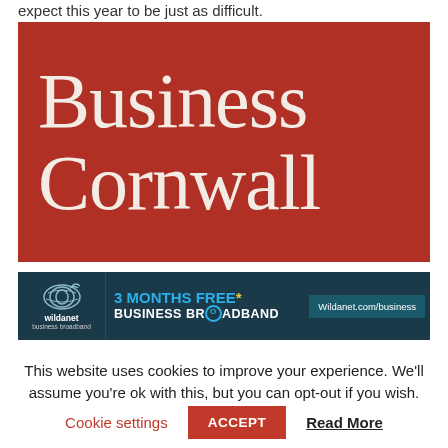expect this year to be just as difficult.
[Figure (logo): Business Cornwall logo — white serif text on a deep red background reading 'Business' on the first line and 'Cornwall' on the second line.]
[Figure (infographic): Wildanet advertisement banner on dark teal background: '3 MONTHS FREE* BUSINESS BROADBAND' with Wildanet logo on the left and 'Wildanet.com/business' button on the right.]
This website uses cookies to improve your experience. We'll assume you're ok with this, but you can opt-out if you wish.
Cookie settings   ACCEPT   Read More